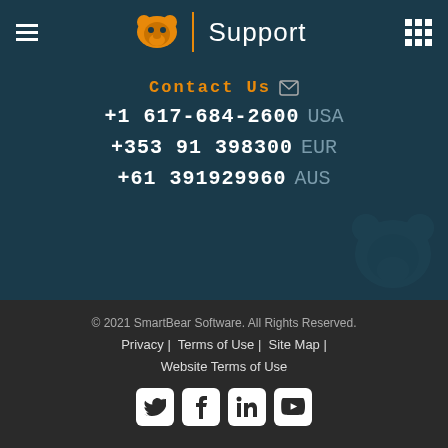SmartBear | Support
Contact Us
+1 617-684-2600 USA
+353 91 398300 EUR
+61 391929960 AUS
© 2021 SmartBear Software. All Rights Reserved. Privacy | Terms of Use | Site Map | Website Terms of Use
[Figure (illustration): Social media icons for Twitter, Facebook, LinkedIn, and YouTube in white rounded squares on dark background]